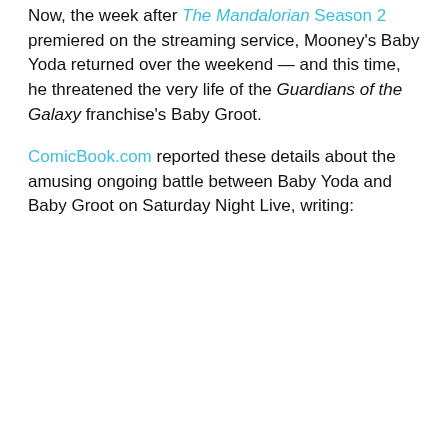Now, the week after The Mandalorian Season 2 premiered on the streaming service, Mooney's Baby Yoda returned over the weekend — and this time, he threatened the very life of the Guardians of the Galaxy franchise's Baby Groot.
ComicBook.com reported these details about the amusing ongoing battle between Baby Yoda and Baby Groot on Saturday Night Live, writing: